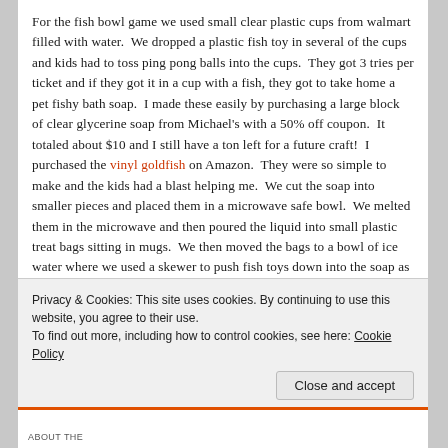For the fish bowl game we used small clear plastic cups from walmart filled with water. We dropped a plastic fish toy in several of the cups and kids had to toss ping pong balls into the cups. They got 3 tries per ticket and if they got it in a cup with a fish, they got to take home a pet fishy bath soap. I made these easily by purchasing a large block of clear glycerine soap from Michael's with a 50% off coupon. It totaled about $10 and I still have a ton left for a future craft! I purchased the vinyl goldfish on Amazon. They were so simple to make and the kids had a blast helping me. We cut the soap into smaller pieces and placed them in a microwave safe bowl. We melted them in the microwave and then poured the liquid into small plastic treat bags sitting in mugs. We then moved the bags to a bowl of ice water where we used a skewer to push fish toys down into the soap as it hardened. If you choose to add scent to your soap, mix it
Privacy & Cookies: This site uses cookies. By continuing to use this website, you agree to their use.
To find out more, including how to control cookies, see here: Cookie Policy